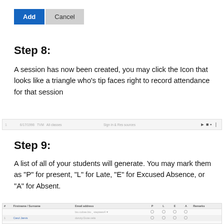[Figure (screenshot): Two buttons: blue 'Add' button and grey 'Cancel' button]
Step 8:
A session has now been created, you may click the Icon that looks like a triangle who's tip faces right to record attendance for that session
[Figure (screenshot): A row in a session list showing date, time, duration, session title, and action icons including a play button on the right]
Step 9:
A list of all of your students will generate. You may mark them as "P" for present, "L" for Late, "E" for Excused Absence, or "A" for Absent.
[Figure (screenshot): A table listing students with columns for Firstname/Surname, Email address, P, L, E, A, and Remarks, with radio button inputs for attendance marking]